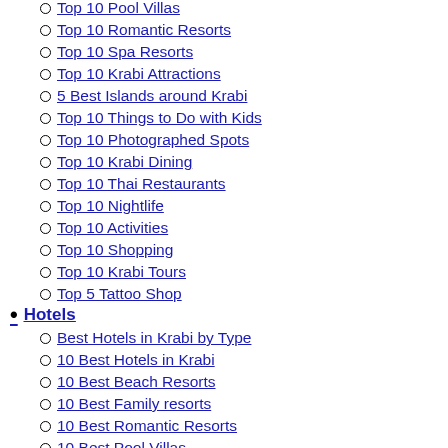Top 10 Pool Villas
Top 10 Romantic Resorts
Top 10 Spa Resorts
Top 10 Krabi Attractions
5 Best Islands around Krabi
Top 10 Things to Do with Kids
Top 10 Photographed Spots
Top 10 Krabi Dining
Top 10 Thai Restaurants
Top 10 Nightlife
Top 10 Activities
Top 10 Shopping
Top 10 Krabi Tours
Top 5 Tattoo Shop
Hotels
Best Hotels in Krabi by Type
10 Best Hotels in Krabi
10 Best Beach Resorts
10 Best Family resorts
10 Best Romantic Resorts
10 Best Pool Villas
10 Best Spa Resorts
First Time in Krabi? Where to Start...
Best Hotels by Price Range